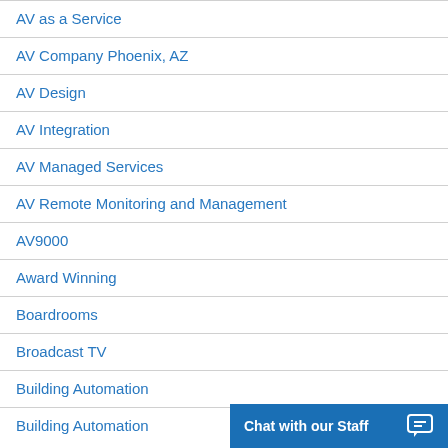AV as a Service
AV Company Phoenix, AZ
AV Design
AV Integration
AV Managed Services
AV Remote Monitoring and Management
AV9000
Award Winning
Boardrooms
Broadcast TV
Building Automation
Building Automation